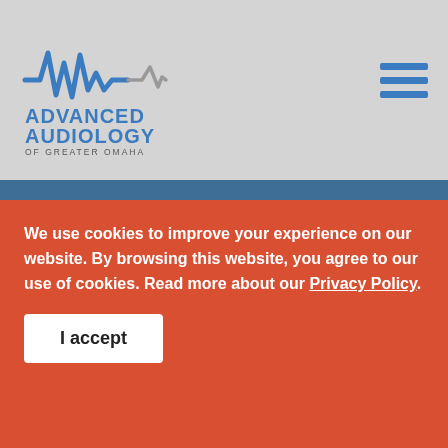[Figure (logo): Advanced Audiology of Greater Omaha logo with waveform/sound wave graphic in blue and gray]
[Figure (other): Hamburger menu icon with three horizontal blue bars]
Phone
402.235.5028
Address
16900 Lakeside Hills Court, Suite 106
We use cookies to improve your experience on our website. By browsing this website, you agree to our use of cookies. Read more about our Privacy Policy.
I accept